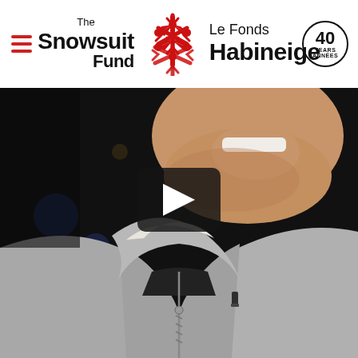[Figure (logo): The Snowsuit Fund / Le Fonds Habineige logo with red snowflake graphic, hamburger menu icon on left, and 40 Years/Années anniversary badge on right]
[Figure (photo): Video thumbnail showing a man in a grey zip-up hoodie with a microphone clip, mouth slightly open, dark blurred background with bokeh lights, with a play button overlay in the center]